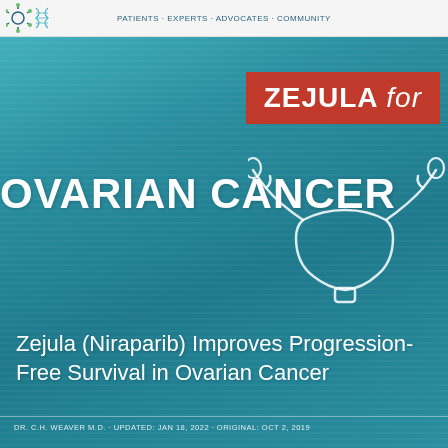Patients · Experts · Advocates · Community
ZEJULA for
OVARIAN CANCER
[Figure (illustration): White outline illustration of a uterus and fallopian tubes]
Zejula (Niraparib) Improves Progression-Free Survival in Ovarian Cancer
DR. C.H. WEAVER M.D. · UPDATED: JAN 18, 2022 · ORIGINAL: OCT 2, 2019